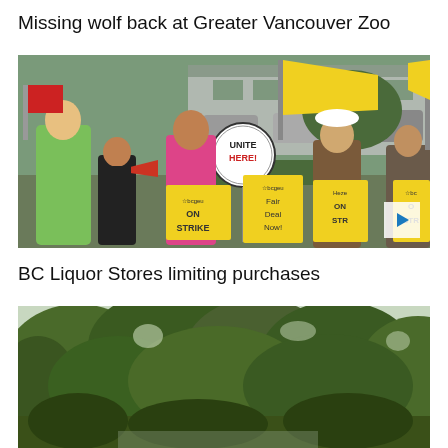Missing wolf back at Greater Vancouver Zoo
[Figure (photo): Protesters carrying yellow union signs reading 'bcgeu ON STRIKE' and 'bcgeu Fair Deal Now!' and 'UNITE HERE!' signs, waving yellow flags, some using a megaphone, outdoors in a parking lot area.]
BC Liquor Stores limiting purchases
[Figure (photo): Outdoor scene with dense green tree canopy visible against a light sky, partial view of a building or structure below.]